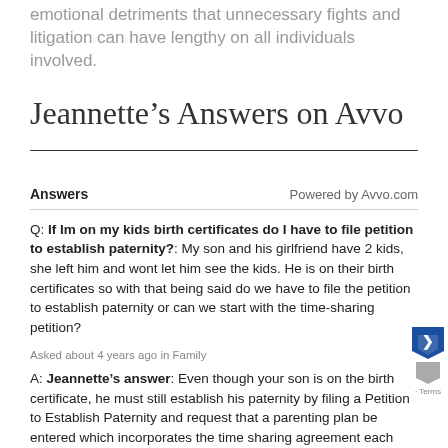emotional detriments that unnecessary fights and litigation can have lengthy on all individuals involved.
Jeannette’s Answers on Avvo
Answers
Powered by Avvo.com
Q: If Im on my kids birth certificates do I have to file petition to establish paternity?: My son and his girlfriend have 2 kids, she left him and wont let him see the kids. He is on their birth certificates so with that being said do we have to file the petition to establish paternity or can we start with the time-sharing petition?
Asked about 4 years ago in Family
A: Jeannette’s answer: Even though your son is on the birth certificate, he must still establish his paternity by filing a Petition to Establish Paternity and request that a parenting plan be entered which incorporates the time sharing agreement each